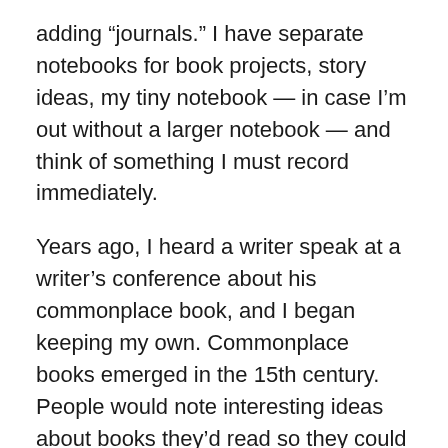adding “journals.” I have separate notebooks for book projects, story ideas, my tiny notebook — in case I’m out without a larger notebook — and think of something I must record immediately.
Years ago, I heard a writer speak at a writer’s conference about his commonplace book, and I began keeping my own. Commonplace books emerged in the 15th century. People would note interesting ideas about books they’d read so they could use them for conversation starters. I no longer remember the name of the speaker, but I remember what he said (because I noted it in my commonplace book):
“There was a time when commonplace books were a popular way for civilized men and women to record striking passages they found in their reading. Who can forget the